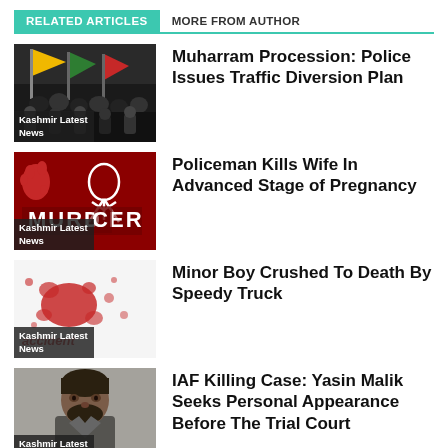RELATED ARTICLES | MORE FROM AUTHOR
Muharram Procession: Police Issues Traffic Diversion Plan
Policeman Kills Wife In Advanced Stage of Pregnancy
Minor Boy Crushed To Death By Speedy Truck
IAF Killing Case: Yasin Malik Seeks Personal Appearance Before The Trial Court